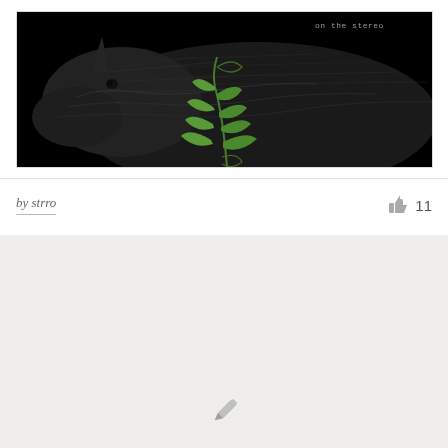[Figure (photo): Dark album artwork showing a black rhinoceros with a green plant/vine growing in front of it, with text 'on the stereo' in the upper right corner]
by strro
11
[Figure (other): Light gray/beige card area with a pencil/edit icon at the bottom center]